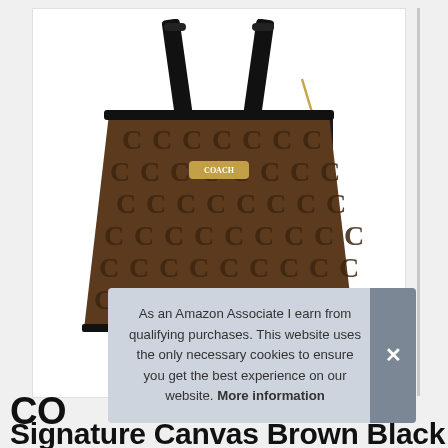[Figure (photo): Coach tote bag with brown and black signature canvas pattern (interlocking C monogram print), black leather handles and trim, gold Coach logo hardware on front center, black leather hang tag on right side. White background product photo.]
As an Amazon Associate I earn from qualifying purchases. This website uses the only necessary cookies to ensure you get the best experience on our website. More information
CO
Signature Canvas Brown Black